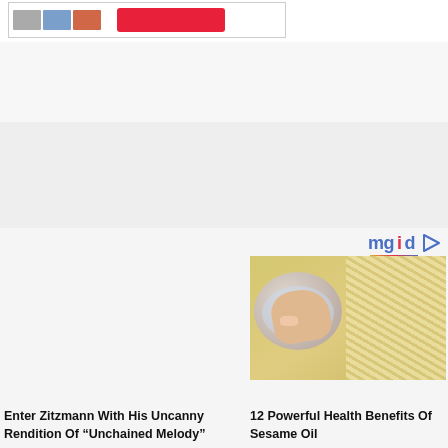[Figure (screenshot): Top portion of a webpage showing a content box with thumbnail images and a red button, separated by horizontal dividers and whitespace/ad sections.]
[Figure (logo): mgid logo with play button icon]
[Figure (photo): Photo of a hand placing an egg into a bowl of water, with sesame seeds spread on a wooden surface nearby]
Enter Zitzmann With His Uncanny Rendition Of “Unchained Melody”
12 Powerful Health Benefits Of Sesame Oil